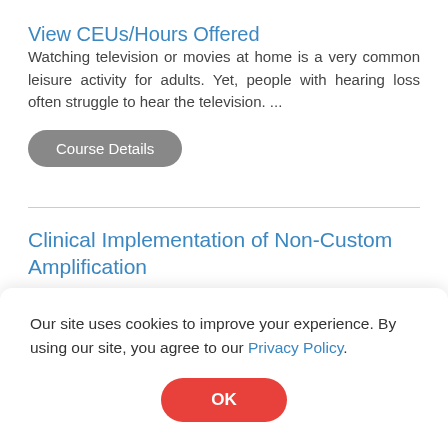View CEUs/Hours Offered
Watching television or movies at home is a very common leisure activity for adults. Yet, people with hearing loss often struggle to hear the television. ...
Course Details
Clinical Implementation of Non-Custom Amplification
Presented by Lori Zitelli, AuD
[Figure (illustration): Video camera icon]
Our site uses cookies to improve your experience. By using our site, you agree to our Privacy Policy.
OK